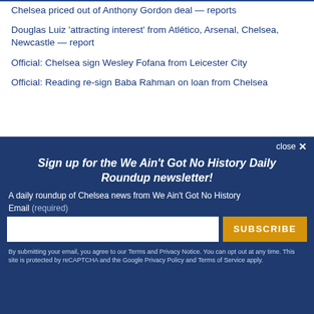Chelsea priced out of Anthony Gordon deal — reports
Douglas Luiz 'attracting interest' from Atlético, Arsenal, Chelsea, Newcastle — report
Official: Chelsea sign Wesley Fofana from Leicester City
Official: Reading re-sign Baba Rahman on loan from Chelsea
close ✕
Sign up for the We Ain't Got No History Daily Roundup newsletter!
A daily roundup of Chelsea news from We Ain't Got No History
Email (required)
SUBSCRIBE
By submitting your email, you agree to our Terms and Privacy Notice. You can opt out at any time. This site is protected by reCAPTCHA and the Google Privacy Policy and Terms of Service apply.